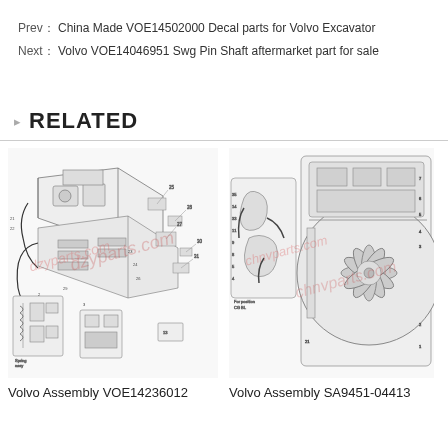Prev： China Made VOE14502000 Decal parts for Volvo Excavator
Next： Volvo VOE14046951 Swg Pin Shaft aftermarket part for sale
RELATED
[Figure (engineering-diagram): Technical exploded assembly diagram of Volvo Assembly VOE14236012 showing mechanical parts with numbered callouts]
Volvo Assembly VOE14236012
[Figure (engineering-diagram): Technical exploded assembly diagram of Volvo Assembly SA9451-04413 showing fan and mechanical components with numbered callouts]
Volvo Assembly SA9451-04413